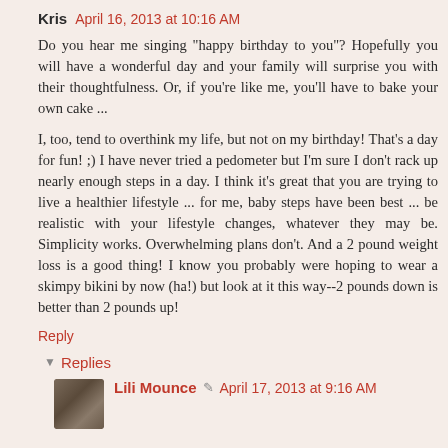Kris  April 16, 2013 at 10:16 AM
Do you hear me singing "happy birthday to you"? Hopefully you will have a wonderful day and your family will surprise you with their thoughtfulness. Or, if you're like me, you'll have to bake your own cake ...
I, too, tend to overthink my life, but not on my birthday! That's a day for fun! ;) I have never tried a pedometer but I'm sure I don't rack up nearly enough steps in a day. I think it's great that you are trying to live a healthier lifestyle ... for me, baby steps have been best ... be realistic with your lifestyle changes, whatever they may be. Simplicity works. Overwhelming plans don't. And a 2 pound weight loss is a good thing! I know you probably were hoping to wear a skimpy bikini by now (ha!) but look at it this way--2 pounds down is better than 2 pounds up!
Reply
▾ Replies
Lili Mounce  April 17, 2013 at 9:16 AM